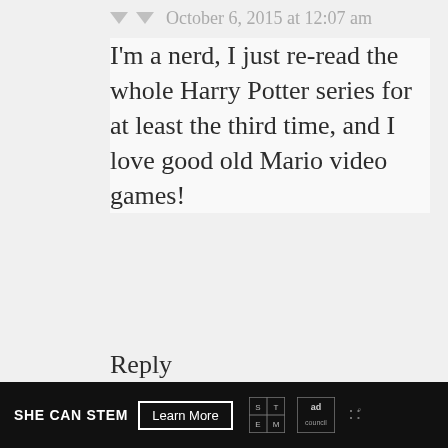October 6, 2015 at 12:07 am
I'm a nerd, I just re-read the whole Harry Potter series for at least the third time, and I love good old Mario video games!
Reply
Jan N.
October 9, 2015 at 4:44 pm
I love watching The Big Bang Theory and have watched past seasons more sometimes, over...
[Figure (illustration): Colorful peace sign avatar for commenter Jan N.]
SHE CAN STEM   Learn More   [STEM logo] [Ad Council logo]